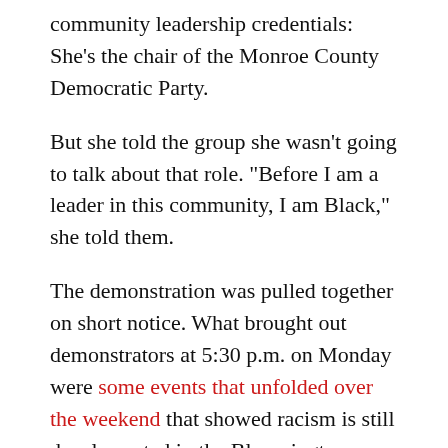community leadership credentials: She's the chair of the Monroe County Democratic Party.
But she told the group she wasn't going to talk about that role. "Before I am a leader in this community, I am Black," she told them.
The demonstration was pulled together on short notice. What brought out demonstrators at 5:30 p.m. on Monday were some events that unfolded over the weekend that showed racism is still deeply rooted in the Bloomington community.
On Sunday, Vauhxx Booker, who is an activist and a member of Monroe County's human rights commission, posted to Facebook a video showing parts of an incident at Lake Monroe on July 4. The